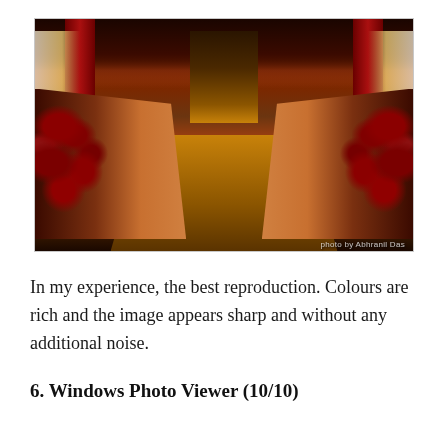[Figure (photo): Interior of a Tibetan Buddhist monastery hall with rows of monks in red robes seated at long wooden benches on both sides, facing inward toward a central aisle. The hall has ornate red and gold decorations, wooden floors, and an altar visible at the far end. A large ceremonial horn lies on the floor in the foreground. Photo credit: Abhranil Das.]
In my experience, the best reproduction. Colours are rich and the image appears sharp and without any additional noise.
6. Windows Photo Viewer (10/10)